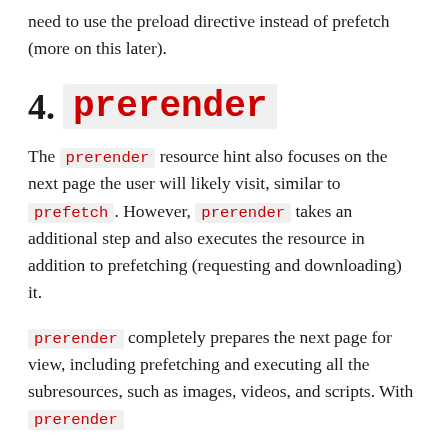need to use the preload directive instead of prefetch (more on this later).
4. prerender
The prerender resource hint also focuses on the next page the user will likely visit, similar to prefetch. However, prerender takes an additional step and also executes the resource in addition to prefetching (requesting and downloading) it.
prerender completely prepares the next page for view, including prefetching and executing all the subresources, such as images, videos, and scripts. With prerender